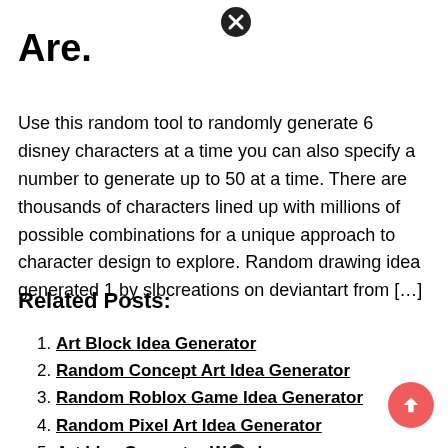[Figure (other): Close/cancel icon (circled X) near top center]
Are.
Use this random tool to randomly generate 6 disney characters at a time you can also specify a number to generate up to 50 at a time. There are thousands of characters lined up with millions of possible combinations for a unique approach to character design to explore. Random drawing idea generated 1 by slbcreations on deviantart from […]
Related Posts:
Art Block Idea Generator
Random Concept Art Idea Generator
Random Roblox Game Idea Generator
Random Pixel Art Idea Generator
Art Idea Generator Wheel